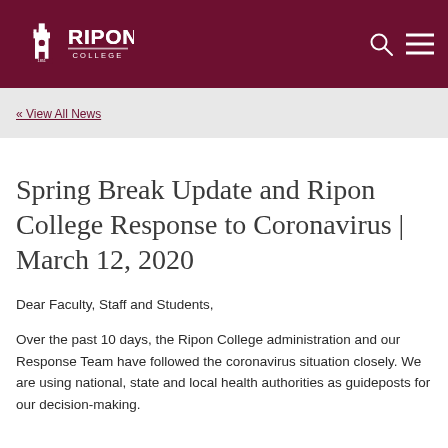Ripon College
« View All News
Spring Break Update and Ripon College Response to Coronavirus | March 12, 2020
Dear Faculty, Staff and Students,
Over the past 10 days, the Ripon College administration and our Response Team have followed the coronavirus situation closely. We are using national, state and local health authorities as guideposts for our decision-making.